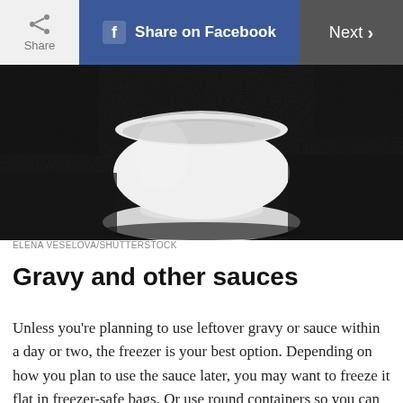Share | Share on Facebook | Next >
[Figure (photo): Close-up photo of a white ceramic gravy boat or sauce bowl on a dark textured background]
ELENA VESELOVA/SHUTTERSTOCK
Gravy and other sauces
Unless you’re planning to use leftover gravy or sauce within a day or two, the freezer is your best option. Depending on how you plan to use the sauce later, you may want to freeze it flat in freezer-safe bags. Or use round containers so you can cook them from frozen in an Instant Pot. To